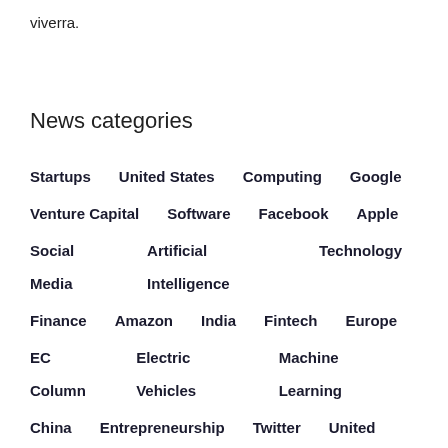viverra.
News categories
Startups   United States   Computing   Google
Venture Capital   Software   Facebook   Apple
Social Media   Artificial Intelligence   Technology
Finance   Amazon   India   Fintech   Europe
EC Column   Electric Vehicles   Machine Learning
China   Entrepreneurship   Twitter   United Kingdom
Microsoft   E-Commerce